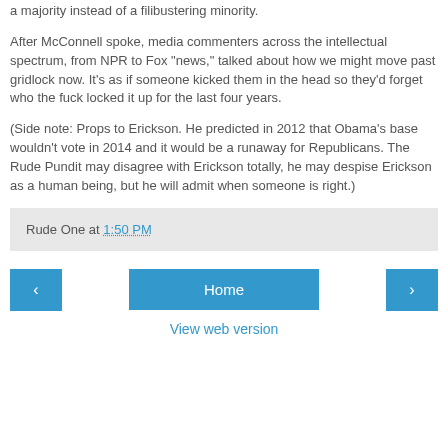a majority instead of a filibustering minority.
After McConnell spoke, media commenters across the intellectual spectrum, from NPR to Fox "news," talked about how we might move past gridlock now. It's as if someone kicked them in the head so they'd forget who the fuck locked it up for the last four years.
(Side note: Props to Erickson. He predicted in 2012 that Obama's base wouldn't vote in 2014 and it would be a runaway for Republicans. The Rude Pundit may disagree with Erickson totally, he may despise Erickson as a human being, but he will admit when someone is right.)
Rude One at 1:50 PM
Home
View web version